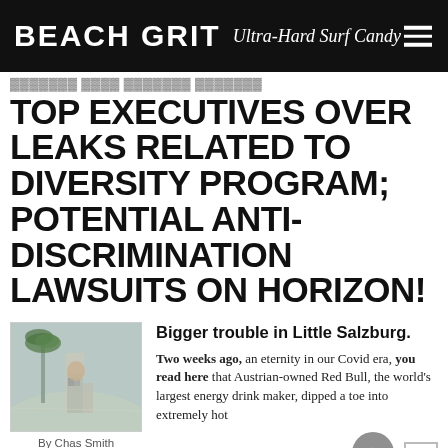BEACH GRIT Ultra-Hard Surf Candy
TOP EXECUTIVES OVER LEAKS RELATED TO DIVERSITY PROGRAM; POTENTIAL ANTI-DISCRIMINATION LAWSUITS ON HORIZON!
Bigger trouble in Little Salzburg.
Two weeks ago, an eternity in our Covid era, you read here that Austrian-owned Red Bull, the world's largest energy drink maker, dipped a toe into extremely hot
By Chas Smith
2 years ago